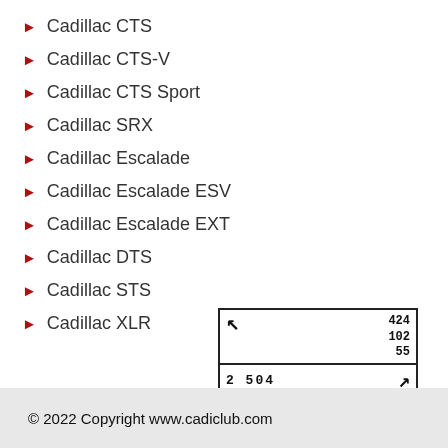Cadillac CTS
Cadillac CTS-V
Cadillac CTS Sport
Cadillac SRX
Cadillac Escalade
Cadillac Escalade ESV
Cadillac Escalade EXT
Cadillac DTS
Cadillac STS
Cadillac XLR
[Figure (other): Navigation widget showing arrow top-left, numbers 424 102 55, count 2 504 and arrow bottom-right]
© 2022 Copyright www.cadiclub.com